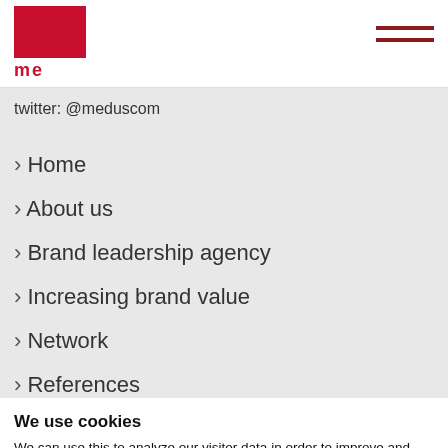me [logo] — hamburger menu
twitter: @meduscom
› Home
› About us
› Brand leadership agency
› Increasing brand value
› Network
› References
We use cookies
We can use this to analyze our visitor data in order to improve and personalize our website. For more information about the cookies we have selected, open the settings. You can find more information about cookies in our privacy policy.
Accept all
Let me choose
I decline